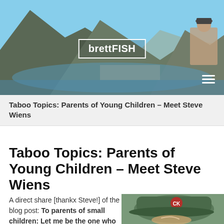[Figure (photo): Website header banner showing mountain landscape with ocean/bay view, person sitting on cliff edge top right, brettFISH logo in center, hamburger menu icon bottom right]
Taboo Topics: Parents of Young Children – Meet Steve Wiens
Taboo Topics: Parents of Young Children – Meet Steve Wiens
A direct share [thankx Steve!] of the blog post: To parents of small children: Let me be the one who
[Figure (photo): Close-up photo of a man wearing a dark baseball cap with a logo and text reading 'Heart of Brotherhood']